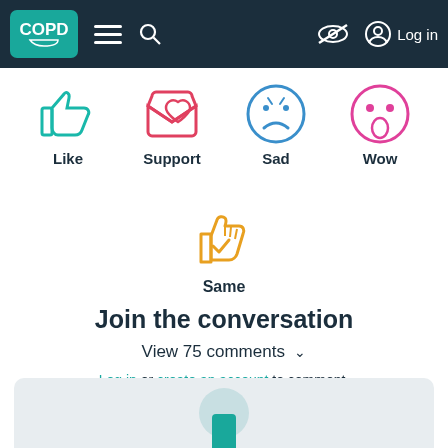COPD [navigation bar with menu, search, accessibility, log in]
[Figure (illustration): Four reaction icons in a row: Like (teal thumbs up), Support (red open envelope with heart), Sad (blue sad face emoji), Wow (pink shocked face emoji)]
Like   Support   Sad   Wow
[Figure (illustration): Same reaction icon: orange raised hand with checkmark]
Same
Join the conversation
View 75 comments ✓
Log in or create an account to comment.
[Figure (illustration): Bottom card with teal circular avatar and teal rectangle bar, partially visible]